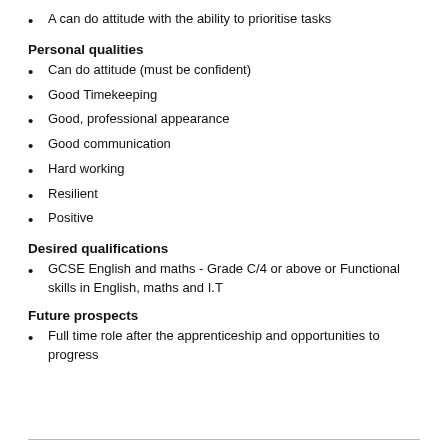A can do attitude with the ability to prioritise tasks
Personal qualities
Can do attitude (must be confident)
Good Timekeeping
Good, professional appearance
Good communication
Hard working
Resilient
Positive
Desired qualifications
GCSE English and maths - Grade C/4 or above or Functional skills in English, maths and I.T
Future prospects
Full time role after the apprenticeship and opportunities to progress